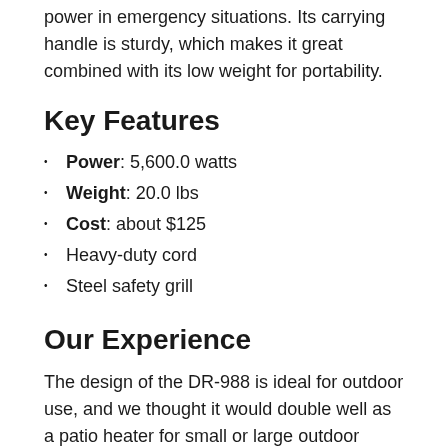power in emergency situations. Its carrying handle is sturdy, which makes it great combined with its low weight for portability.
Key Features
Power: 5,600.0 watts
Weight: 20.0 lbs
Cost: about $125
Heavy-duty cord
Steel safety grill
Our Experience
The design of the DR-988 is ideal for outdoor use, and we thought it would double well as a patio heater for small or large outdoor events. We did not like that this heater doesn't have a timer on it like the others in our roundup.